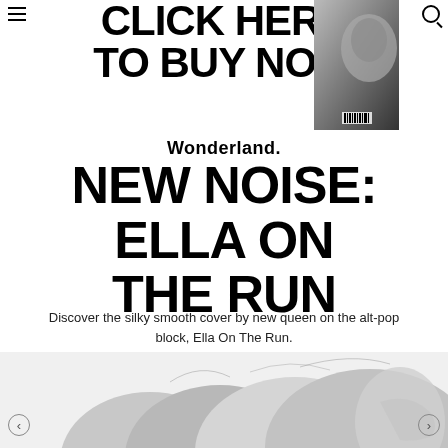≡  [navigation]  🔍
[Figure (illustration): Top banner with partially visible text 'CLICK HERE TO BUY NOW' and a black-and-white magazine cover photo on the right showing a close-up of a woman's face]
Wonderland.
NEW NOISE: ELLA ON THE RUN
Discover the silky smooth cover by new queen on the alt-pop block, Ella On The Run.
[Figure (photo): Black and white photo of multiple overlapping heads/hair, bottom portion of page showing a woman from behind/side, cropped]